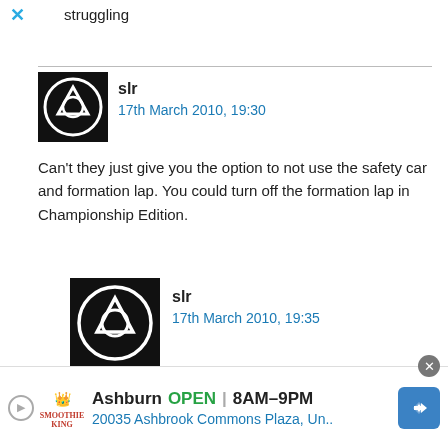struggling
slr
17th March 2010, 19:30
Can't they just give you the option to not use the safety car and formation lap. You could turn off the formation lap in Championship Edition.
slr
17th March 2010, 19:35
Actually, just thinking about it. If your car can get damaged from debris left on the track, how do you get rid of it? Does it dissapear into thin air like in F1
Ashburn  OPEN  8AM–9PM
20035 Ashbrook Commons Plaza, Un..